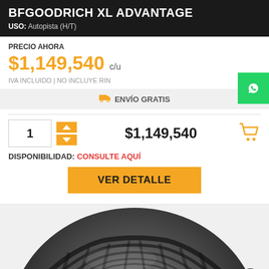BFGOODRICH XL ADVANTAGE
USO: Autopista (H/T)
PRECIO AHORA
$1,149,540 c/u
IVA INCLUIDO | NO INCLUYE RIN
🚚 ENVÍO GRATIS
1
$1,149,540
DISPONIBILIDAD: CONSULTE AQUÍ
VER DETALLE
[Figure (photo): BFGoodrich tire tread close-up photo, viewed from slight angle showing tire grooves and pattern]